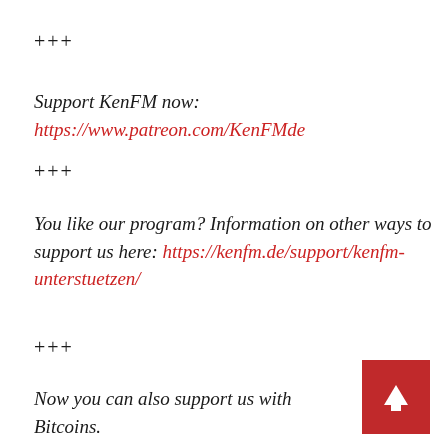+++
Support KenFM now: https://www.patreon.com/KenFMde
+++
You like our program? Information on other ways to support us here: https://kenfm.de/support/kenfm-unterstuetzen/
+++
Now you can also support us with Bitcoins.